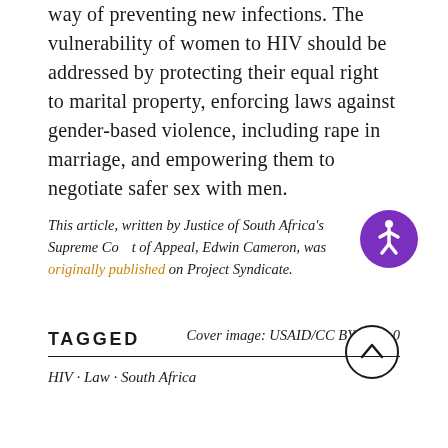way of preventing new infections. The vulnerability of women to HIV should be addressed by protecting their equal right to marital property, enforcing laws against gender-based violence, including rape in marriage, and empowering them to negotiate safer sex with men.
This article, written by Justice of South Africa's Supreme Court of Appeal, Edwin Cameron, was originally published on Project Syndicate.
[Figure (illustration): Purple circular accessibility icon with white wheelchair symbol]
Cover image: USAID/CC BY-NC 2.0
[Figure (illustration): Circular scroll-to-top button with upward chevron arrow]
TAGGED
HIV · Law · South Africa